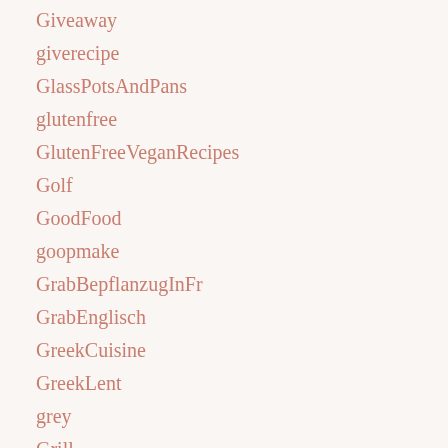Giveaway
giverecipe
GlassPotsAndPans
glutenfree
GlutenFreeVeganRecipes
Golf
GoodFood
goopmake
GrabBepflanzugInFr
GrabEnglisch
GreekCuisine
GreekLent
grey
Grill
GrillUpkeep